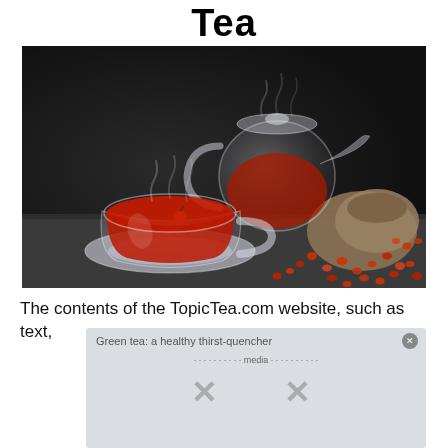Tea
[Figure (photo): Red/hibiscus herbal tea in a glass cup on a saucer with a glass teapot and scattered dried rose hips/berries spilling from a burlap sack, on a dark background.]
The contents of the TopicTea.com website, such as text,
[Figure (screenshot): A semi-transparent overlay popup with text 'Green tea: a healthy thirst-quencher' and a close button, overlapping the main content. Shows partial text about media and an X dismiss button.]